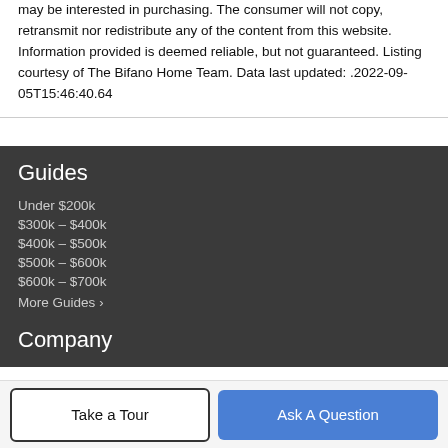may be interested in purchasing. The consumer will not copy, retransmit nor redistribute any of the content from this website. Information provided is deemed reliable, but not guaranteed. Listing courtesy of The Bifano Home Team. Data last updated: .2022-09-05T15:46:40.64
Guides
Under $200k
$300k – $400k
$400k – $500k
$500k – $600k
$600k – $700k
More Guides ›
Company
Take a Tour
Ask A Question